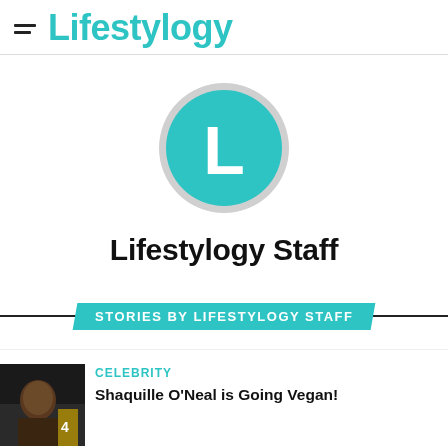Lifestylogy
[Figure (logo): Lifestylogy circular logo with teal background and white letter L on grey outer ring]
Lifestylogy Staff
STORIES BY LIFESTYLOGY STAFF
[Figure (photo): Thumbnail photo of Shaquille O'Neal]
CELEBRITY
Shaquille O'Neal is Going Vegan!